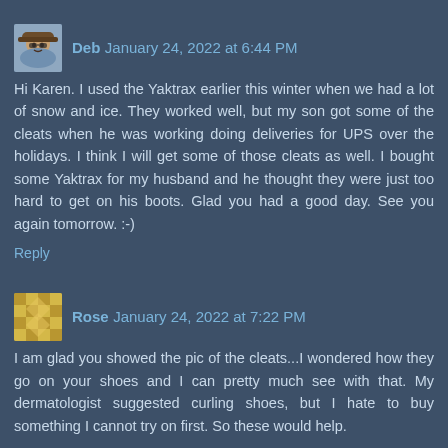Deb January 24, 2022 at 6:44 PM — Hi Karen. I used the Yaktrax earlier this winter when we had a lot of snow and ice. They worked well, but my son got some of the cleats when he was working doing deliveries for UPS over the holidays. I think I will get some of those cleats as well. I bought some Yaktrax for my husband and he thought they were just too hard to get on his boots. Glad you had a good day. See you again tomorrow. :-)
Reply
Rose January 24, 2022 at 7:22 PM — I am glad you showed the pic of the cleats...I wondered how they go on your shoes and I can pretty much see with that. My dermatologist suggested curling shoes, but I hate to buy something I cannot try on first. So these would help.
Reply